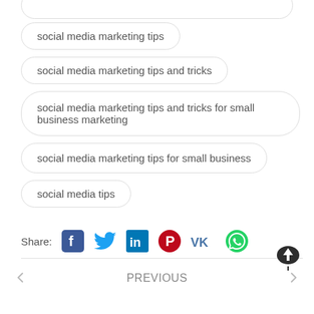social media marketing tips
social media marketing tips and tricks
social media marketing tips and tricks for small business marketing
social media marketing tips for small business
social media tips
Share:
PREVIOUS